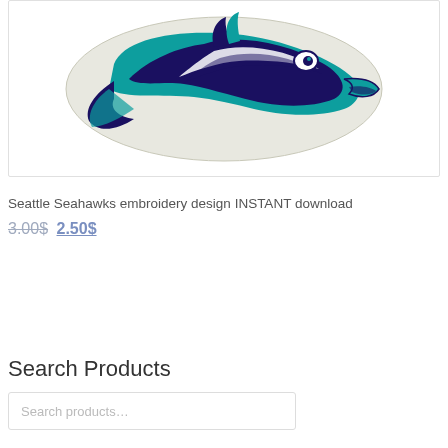[Figure (logo): Seattle Seahawks logo embroidery design — bird head in teal, navy blue and white with decorative outline]
Seattle Seahawks embroidery design INSTANT download
3.00$ 2.50$
Search Products
Search products...